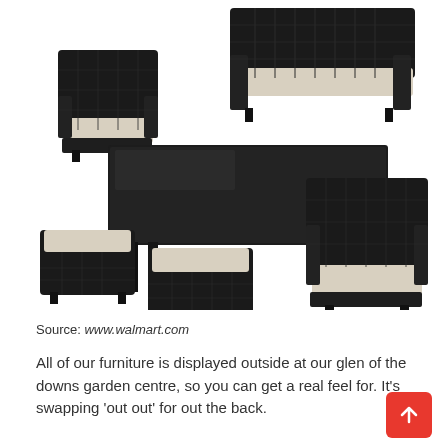[Figure (photo): Black wicker/rattan outdoor patio furniture set with cream/white cushions, consisting of a loveseat sofa, two armchairs, two ottoman footstools, and a rectangular glass-top coffee table, displayed on white background.]
Source: www.walmart.com
All of our furniture is displayed outside at our glen of the downs garden centre, so you can get a real feel for. It's swapping 'out out' for out the back.